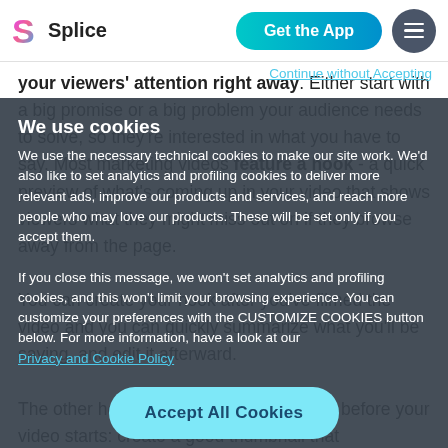Splice — Get the App
your viewers' attention right away. Either start with a big promise or a big problem your audience needs to solve, so they're interested in what you have to say. Most marketing videos feature a hook - a quick preview of what's coming up in your video that shows viewers what they might miss out on if they browse away from the page. You can create your hook after you've filmed the video and you can quickly summarize what you'll be saying, and edit it afterward. The other hook is visual and comes even before your video starts: create a good thumbnail that
Continue without Accepting
We use cookies
We use the necessary technical cookies to make our site work. We'd also like to set analytics and profiling cookies to deliver more relevant ads, improve our products and services, and reach more people who may love our products. These will be set only if you accept them.

If you close this message, we won't set analytics and profiling cookies, and this won't limit your browsing experience. You can customize your preferences with the CUSTOMIZE COOKIES button below. For more information, have a look at our
Privacy and Cookie Policy
Accept All Cookies